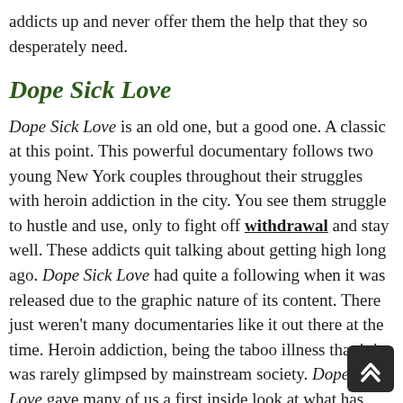addicts up and never offer them the help that they so desperately need.
Dope Sick Love
Dope Sick Love is an old one, but a good one. A classic at this point. This powerful documentary follows two young New York couples throughout their struggles with heroin addiction in the city. You see them struggle to hustle and use, only to fight off withdrawal and stay well. These addicts quit talking about getting high long ago. Dope Sick Love had quite a following when it was released due to the graphic nature of its content. There just weren't many documentaries like it out there at the time. Heroin addiction, being the taboo illness that it is, was rarely glimpsed by mainstream society. Dope Sick Love gave many of us a first inside look at what has been become America's biggest drug problem in history. Though the movie is older...